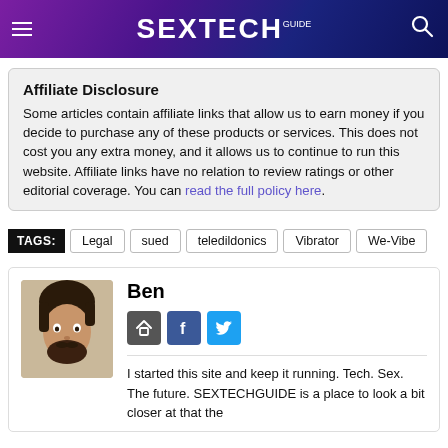SEXTECH GUIDE
Affiliate Disclosure
Some articles contain affiliate links that allow us to earn money if you decide to purchase any of these products or services. This does not cost you any extra money, and it allows us to continue to run this website. Affiliate links have no relation to review ratings or other editorial coverage. You can read the full policy here.
TAGS: Legal | sued | teledildonics | Vibrator | We-Vibe
Ben
I started this site and keep it running. Tech. Sex. The future. SEXTECHGUIDE is a place to look a bit closer at that the ...